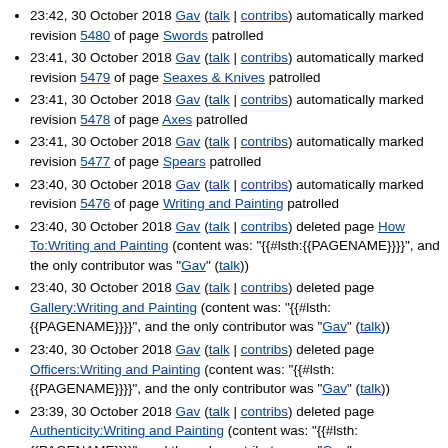23:42, 30 October 2018 Gav (talk | contribs) automatically marked revision 5480 of page Swords patrolled
23:41, 30 October 2018 Gav (talk | contribs) automatically marked revision 5479 of page Seaxes & Knives patrolled
23:41, 30 October 2018 Gav (talk | contribs) automatically marked revision 5478 of page Axes patrolled
23:41, 30 October 2018 Gav (talk | contribs) automatically marked revision 5477 of page Spears patrolled
23:40, 30 October 2018 Gav (talk | contribs) automatically marked revision 5476 of page Writing and Painting patrolled
23:40, 30 October 2018 Gav (talk | contribs) deleted page How To:Writing and Painting (content was: "{{#lsth:{{PAGENAME}}}}" and the only contributor was "Gav" (talk))
23:40, 30 October 2018 Gav (talk | contribs) deleted page Gallery:Writing and Painting (content was: "{{#lsth:{{PAGENAME}}}}" and the only contributor was "Gav" (talk))
23:40, 30 October 2018 Gav (talk | contribs) deleted page Officers:Writing and Painting (content was: "{{#lsth:{{PAGENAME}}}}" and the only contributor was "Gav" (talk))
23:39, 30 October 2018 Gav (talk | contribs) deleted page Authenticity:Writing and Painting (content was: "{{#lsth:{{PAGENAME}}}}" and the only contributor was "Gav"